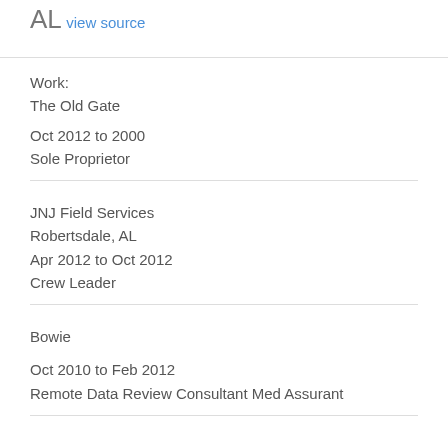AL
view source
Work:
The Old Gate
Oct 2012 to 2000
Sole Proprietor
JNJ Field Services
Robertsdale, AL
Apr 2012 to Oct 2012
Crew Leader
Bowie
Oct 2010 to Feb 2012
Remote Data Review Consultant Med Assurant